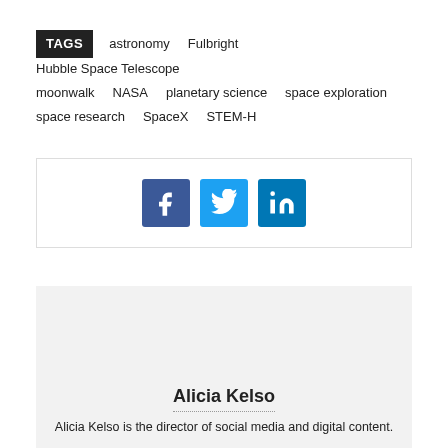TAGS astronomy Fulbright Hubble Space Telescope moonwalk NASA planetary science space exploration space research SpaceX STEM-H
[Figure (infographic): Social media sharing icons: Facebook (blue), Twitter (cyan), LinkedIn (blue), inside a bordered box]
Alicia Kelso
Alicia Kelso is the director of social media and digital content.